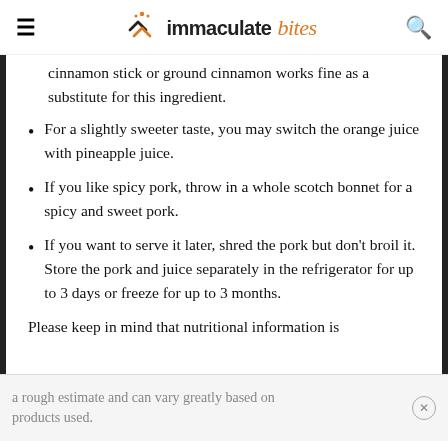immaculate bites
cinnamon stick or ground cinnamon works fine as a substitute for this ingredient.
For a slightly sweeter taste, you may switch the orange juice with pineapple juice.
If you like spicy pork, throw in a whole scotch bonnet for a spicy and sweet pork.
If you want to serve it later, shred the pork but don't broil it. Store the pork and juice separately in the refrigerator for up to 3 days or freeze for up to 3 months.
Please keep in mind that nutritional information is
a rough estimate and can vary greatly based on products used.